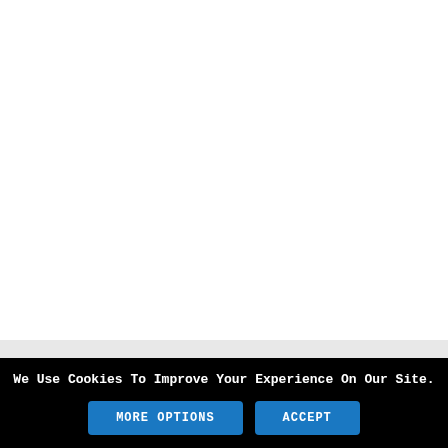We Use Cookies To Improve Your Experience On Our Site.
MORE OPTIONS
ACCEPT